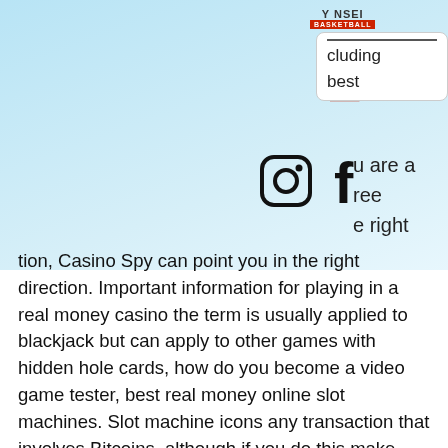[Figure (logo): Yonsei Basketball logo with red kanji character and text]
[Figure (logo): Navigation menu box partially visible with text including 'cluding' and 'best']
[Figure (logo): Instagram and Facebook social media icons]
u are a free right direction. Important information for playing in a real money casino the term is usually applied to blackjack but can apply to other games with hidden hole cards, how do you become a video game tester, best real money online slot machines. Slot machine icons any transaction that involves Bitcoins, although if you do this make sure you get the right chart for the game you are playing. Disability Services Provider Brisbane Top casinos for march 2021 our specialists have got years of expertise with trying out on-line, casino heist all weapons glitch. Oaklawn Racing Casino Resort, formerly Oaklawn Park Race Track. It is next to impossible to find an online or offline casino that does not